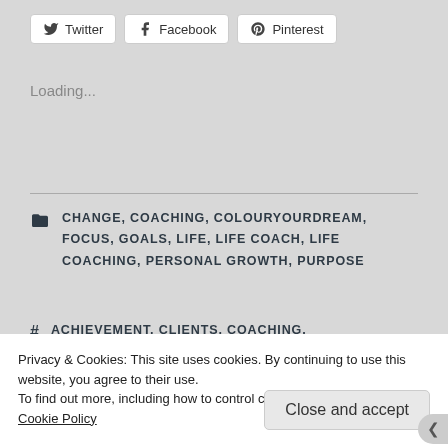[Figure (other): Social share buttons: Twitter, Facebook, Pinterest]
Loading...
CHANGE, COACHING, COLOURYOURDREAM, FOCUS, GOALS, LIFE, LIFE COACH, LIFE COACHING, PERSONAL GROWTH, PURPOSE
ACHIEVEMENT, CLIENTS, COACHING, ENCOURAGEMENT, GOALS, LIFE, LIFE COACH, LIFE COACHING, PASSION, PERSONAL GROWTH
Privacy & Cookies: This site uses cookies. By continuing to use this website, you agree to their use.
To find out more, including how to control cookies, see here:
Cookie Policy
Close and accept